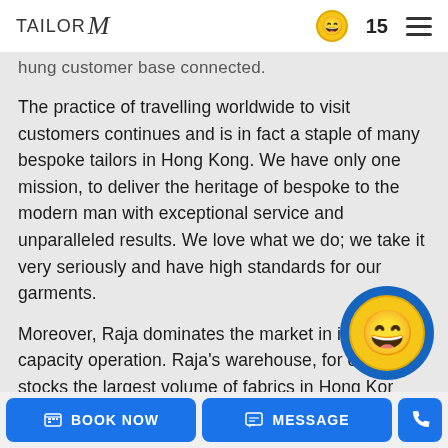TAILOR M | 15
hung customer base connected.
The practice of travelling worldwide to visit customers continues and is in fact a staple of many bespoke tailors in Hong Kong. We have only one mission, to deliver the heritage of bespoke to the modern man with exceptional service and unparalleled results. We love what we do; we take it very seriously and have high standards for our garments.
Moreover, Raja dominates the market in its sheer of capacity operation. Raja's warehouse, for example, stocks the largest volume of fabrics in Hong Kon Stocking about 20,000 fabrics ranging from aff to Exclusive from the best mills in England and
Demand for services is so great that our overseas
[Figure (illustration): Floating blue circle with yellow smiley face emoji]
BOOK NOW | MESSAGE | Phone